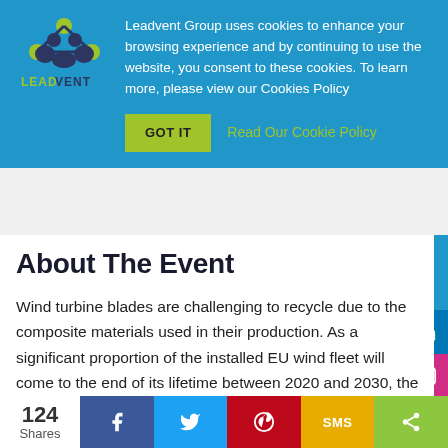[Figure (logo): Leadvent Group logo with green dots and dark molecule-like graphic above LEADVENT text in green/dark]
Leadvent Group uses cookies to enhance your browsing experience and by continuing to use the website, you consent to these cookies. To learn more, please view our Cookies Policy
GOT IT   Read Our Cookie Policy
About The Event
Wind turbine blades are challenging to recycle due to the composite materials used in their production. As a significant proportion of the installed EU wind fleet will come to the end of its lifetime between 2020 and 2030, the wind industry is required to deal with the challenge of how to dispose of rotor blades.
124 Shares